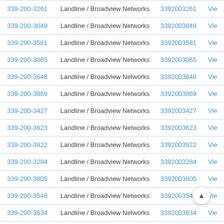| Phone | Type | Number | Action |
| --- | --- | --- | --- |
| 339-200-3261 | Landline / Broadview Networks | 3392003261 | Vie… |
| 339-200-3049 | Landline / Broadview Networks | 3392003049 | Vie… |
| 339-200-3581 | Landline / Broadview Networks | 3392003581 | Vie… |
| 339-200-3065 | Landline / Broadview Networks | 3392003065 | Vie… |
| 339-200-3648 | Landline / Broadview Networks | 3392003648 | Vie… |
| 339-200-3869 | Landline / Broadview Networks | 3392003869 | Vie… |
| 339-200-3427 | Landline / Broadview Networks | 3392003427 | Vie… |
| 339-200-3623 | Landline / Broadview Networks | 3392003623 | Vie… |
| 339-200-3922 | Landline / Broadview Networks | 3392003922 | Vie… |
| 339-200-3284 | Landline / Broadview Networks | 3392003284 | Vie… |
| 339-200-3805 | Landline / Broadview Networks | 3392003805 | Vie… |
| 339-200-3548 | Landline / Broadview Networks | 3392003548 | Vie… |
| 339-200-3634 | Landline / Broadview Networks | 3392003634 | Vie… |
| 339-200-3185 | Landline / Broadview Networks | 3392003185 | Vie… |
| 339-200-3286 | Landline / Broadview Networks | 3392003286 | Vie… |
| 339-200-3910 | Landline / Broadview Networks | 3392003910 | Vie… |
| 339-200-3841 | Landline / Broadview Networks | 3392003841 | Vie… |
| 339-200-3375 | Landline / Broadview Networks | 3392003375 | Vie… |